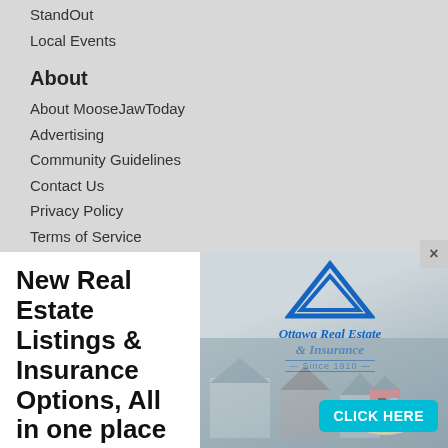StandOut
Local Events
About
About MooseJawToday
Advertising
Community Guidelines
Contact Us
Privacy Policy
Terms of Service
Political Ads Registry
Visit our network of sites:
[Figure (infographic): Ottawa Real Estate & Insurance advertisement banner. Bold text on left: 'New Real Estate Listings & Insurance Options, All in one place'. Right side has a blue double-chevron triangle logo and italic text 'Ottawa Real Estate & Insurance Since 1910'. Background shows a blurred photo of houses and a hand holding a model house. Cyan 'CLICK HERE' button at bottom right.]